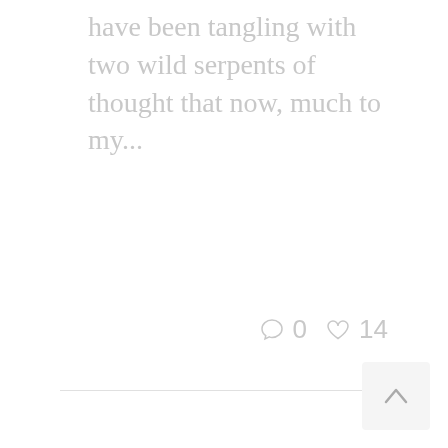have been tangling with two wild serpents of thought that now, much to my...
0  14
[Figure (other): Scroll-to-top button with upward chevron arrow, light gray square background in bottom-right corner]